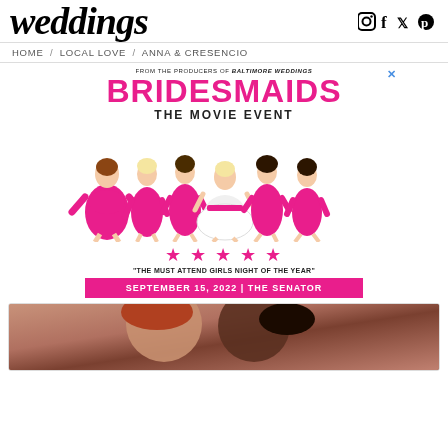weddings
[Figure (logo): Social media icons: Instagram, Facebook, Twitter, Pinterest]
HOME / LOCAL LOVE / ANNA & CRESENCIO
[Figure (illustration): Bridesmaids movie event advertisement. FROM THE PRODUCERS OF BALTIMORE WEDDINGS. BRIDESMAIDS THE MOVIE EVENT. Illustration of six women in pink dresses. Five star rating. 'THE MUST ATTEND GIRLS NIGHT OF THE YEAR'. SEPTEMBER 15, 2022 | THE SENATOR]
[Figure (photo): Partial photo of a couple, cropped at bottom of page]